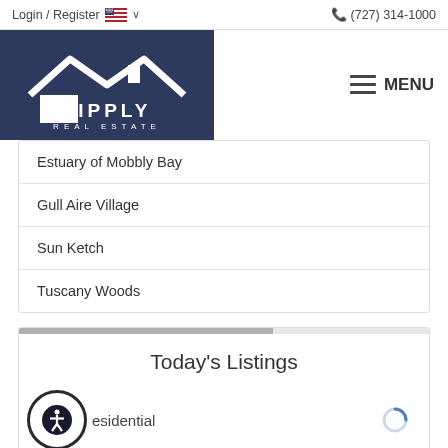Login / Register   🇺🇸 ∨   (727) 314-1000
[Figure (logo): Lipply Real Estate logo — white house/roof icon with text 'LIPPLY REAL ESTATE' on dark navy background]
MENU
Estuary of Mobbly Bay
Gull Aire Village
Sun Ketch
Tuscany Woods
Today's Listings
Residential